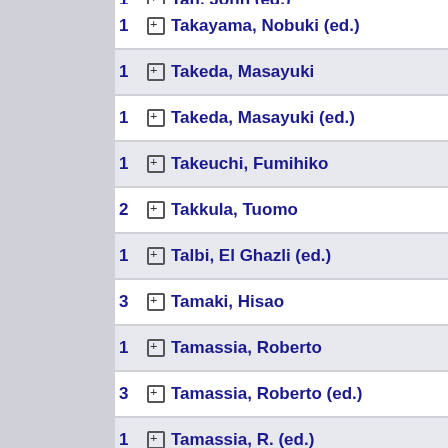1 Takayama, Nobuki (ed.)
1 Takeda, Masayuki
1 Takeda, Masayuki (ed.)
1 Takeuchi, Fumihiko
2 Takkula, Tuomo
1 Talbi, El Ghazli (ed.)
3 Tamaki, Hisao
1 Tamassia, Roberto
3 Tamassia, Roberto (ed.)
1 Tamassia, R. (ed.)
1 Tamir, Tami
2 Tang, Ching Hoo
1 Taniar, David (ed.)
1 Tan, C. J.Kenneth (ed.)
4 Tardos, Gábor
1 Tarhio, Jorma (ed.)
1 Tarissan, Fabien (ed.)
10 Tarjan, Robert E.
1 Tarlecki, Andrzej (ed.)
1 Tarui, Jun (ed.)
3 Tchervenski, Nickolay